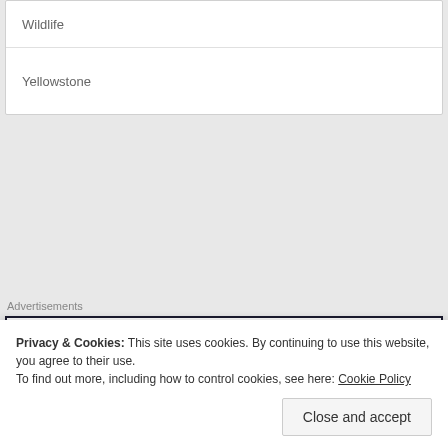Wildlife
Yellowstone
Advertisements
[Figure (illustration): Advertisement box with large serif text reading 'Opinions.']
Privacy & Cookies: This site uses cookies. By continuing to use this website, you agree to their use.
To find out more, including how to control cookies, see here: Cookie Policy
Close and accept